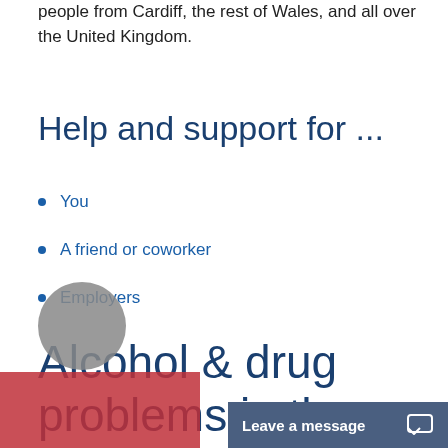people from Cardiff, the rest of Wales, and all over the United Kingdom.
Help and support for ...
You
A friend or coworker
Employers
Alcohol & drug problems in the workplace
[Figure (screenshot): Leave a message chat button bar at the bottom right, and a grey circle and partial red/pink image at the bottom left]